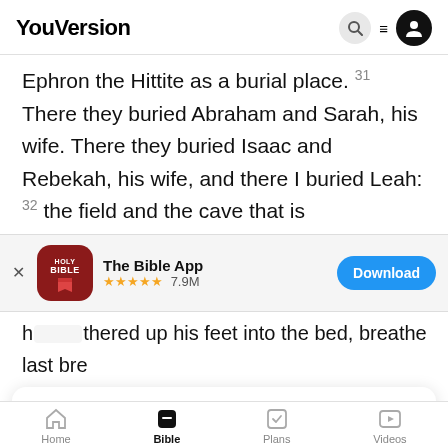YouVersion
Ephron the Hittite as a burial place. 31 There they buried Abraham and Sarah, his wife. There they buried Isaac and Rebekah, his wife, and there I buried Leah: 32 the field and the cave that is
[Figure (screenshot): The Bible App download banner with icon, 5-star rating 7.9M, and Download button]
h...thered up his feet into the bed, breathe
last bre...
YouVersion uses cookies to personalize your experience. By using our website, you accept our use of cookies as described in our Privacy Policy.
Home  Bible  Plans  Videos